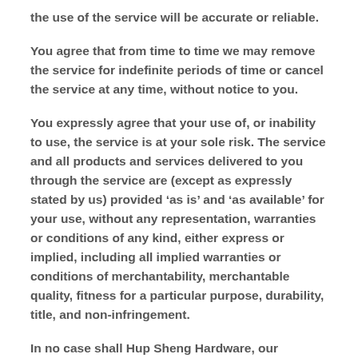the use of the service will be accurate or reliable.
You agree that from time to time we may remove the service for indefinite periods of time or cancel the service at any time, without notice to you.
You expressly agree that your use of, or inability to use, the service is at your sole risk. The service and all products and services delivered to you through the service are (except as expressly stated by us) provided ‘as is’ and ‘as available’ for your use, without any representation, warranties or conditions of any kind, either express or implied, including all implied warranties or conditions of merchantability, merchantable quality, fitness for a particular purpose, durability, title, and non-infringement.
In no case shall Hup Sheng Hardware, our directors, officers, employees, affiliates, agents, contractors, interns, suppliers, service providers or licensors be liable for any injury, loss, claim, or any direct, indirect, incidental, punitive, special, or